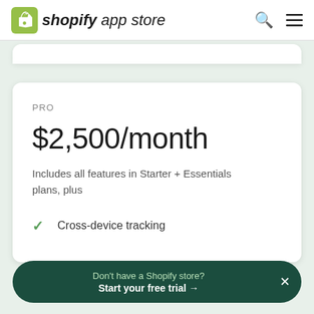shopify app store
PRO
$2,500/month
Includes all features in Starter + Essentials plans, plus
Cross-device tracking
Don't have a Shopify store? Start your free trial →